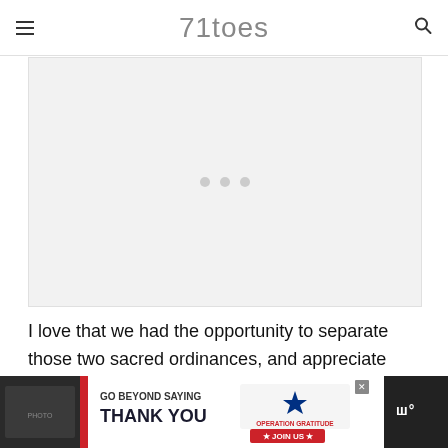71toes
[Figure (photo): Large image placeholder with three dots (loading indicator) in the center on a light gray background]
I love that we had the opportunity to separate those two sacred ordinances, and appreciate them with more depth for how beautiful they each are.
[Figure (infographic): Advertisement banner: 'GO BEYOND SAYING THANK YOU — OPERATION GRATITUDE — JOIN US' with Operation Gratitude logo on dark background, with an 'x' close button]